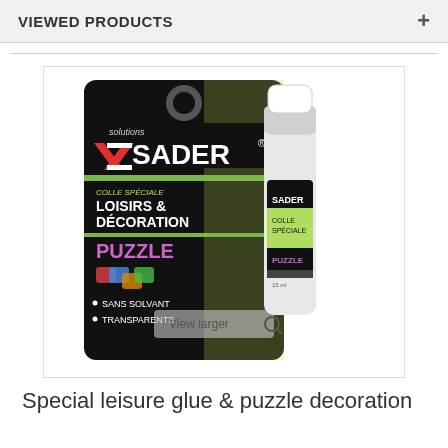VIEWED PRODUCTS
[Figure (photo): Product photo of Sader Solutions puzzle glue stick in black and green packaging. Label reads: COLLE SPECIALE LOISIRS & DECORATION PUZZLE, SANS SOLVANT, TRANSPARENTE. Shows a glue stick next to the packaging card.]
Special leisure glue & puzzle decoration